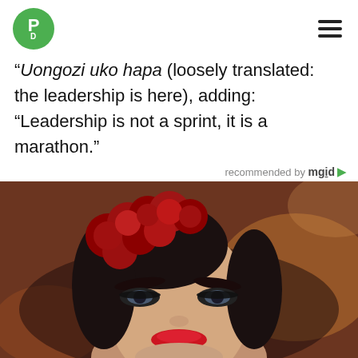PD logo and hamburger menu
“Uongozi uko hapa (loosely translated: the leadership is here), adding: “Leadership is not a sprint, it is a marathon.”
recommended by mgid
[Figure (photo): Close-up portrait of a woman with dark hair adorned with large red roses, wearing dramatic eye makeup and red lipstick, with a warm bokeh background.]